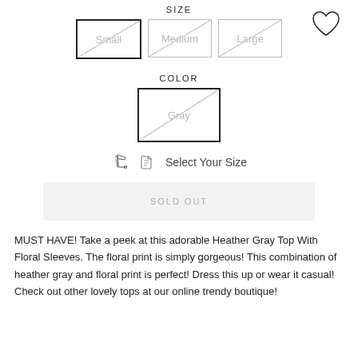SIZE
Small | Medium | Large
COLOR
Gray
Select Your Size
SOLD OUT
MUST HAVE! Take a peek at this adorable Heather Gray Top With Floral Sleeves. The floral print is simply gorgeous! This combination of heather gray and floral print is perfect! Dress this up or wear it casual! Check out other lovely tops at our online trendy boutique!